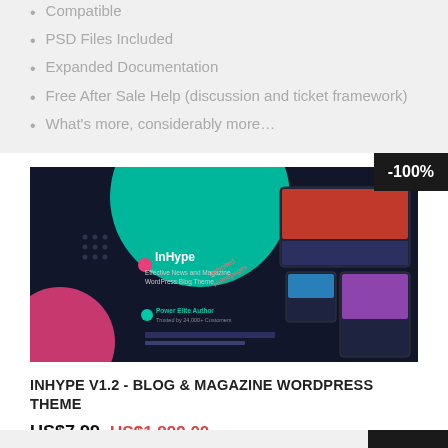Compatible
PSD Files Included
Expanded Documentation
Free After Sale Help (discussion and ticket framework)
What's more, considerably more…
[Figure (screenshot): InHype v1.2 blog and magazine WordPress theme promotional screenshot showing dark themed landing page with teal/green circular design element, multiple device mockups, 'Power Elite Author Trusted by 24,000+ Customers' badge. Discount badge showing -100% in top right corner.]
INHYPE V1.2 - BLOG & MAGAZINE WORDPRESS THEME
US$7.99 US$1,899.00